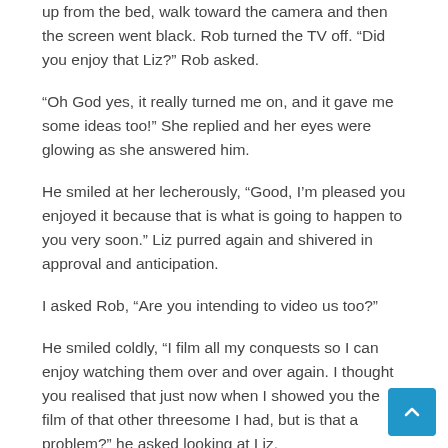up from the bed, walk toward the camera and then the screen went black. Rob turned the TV off. “Did you enjoy that Liz?” Rob asked.
“Oh God yes, it really turned me on, and it gave me some ideas too!” She replied and her eyes were glowing as she answered him.
He smiled at her lecherously, “Good, I’m pleased you enjoyed it because that is what is going to happen to you very soon.” Liz purred again and shivered in approval and anticipation.
I asked Rob, “Are you intending to video us too?”
He smiled coldly, “I film all my conquests so I can enjoy watching them over and over again. I thought you realised that just now when I showed you the film of that other threesome I had, but is that a problem?” he asked looking at Liz.
She smiled wickedly, “Not really, to be honest it turns me on h... but I will wear my mask again in case you end up showing it to... another couple you’re intent on seducing! I don’t mind being filmed